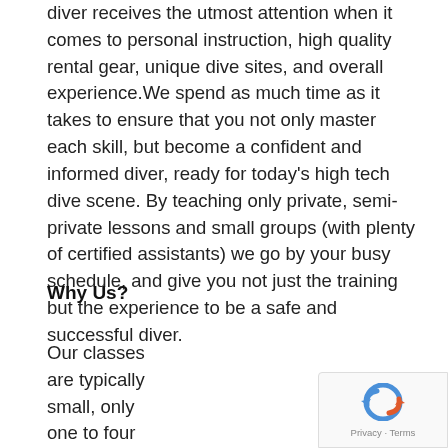diver receives the utmost attention when it comes to personal instruction, high quality rental gear, unique dive sites, and overall experience.We spend as much time as it takes to ensure that you not only master each skill, but become a confident and informed diver, ready for today's high tech dive scene. By teaching only private, semi-private lessons and small groups (with plenty of certified assistants) we go by your busy schedule, and give you not just the training but the experience to be a safe and successful diver.
Why Us?
Our classes are typically small, only one to four students (upon